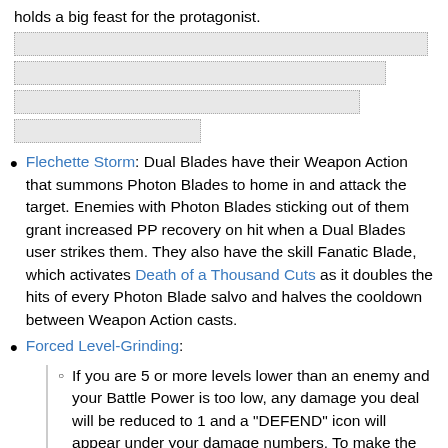holds a big feast for the protagonist.
[Figure (other): Redacted/blurred placeholder boxes]
Flechette Storm: Dual Blades have their Weapon Action that summons Photon Blades to home in and attack the target. Enemies with Photon Blades sticking out of them grant increased PP recovery on hit when a Dual Blades user strikes them. They also have the skill Fanatic Blade, which activates Death of a Thousand Cuts as it doubles the hits of every Photon Blade salvo and halves the cooldown between Weapon Action casts.
Forced Level-Grinding:
If you are 5 or more levels lower than an enemy and your Battle Power is too low, any damage you deal will be reduced to 1 and a "DEFEND" icon will appear under your damage numbers. To make the point